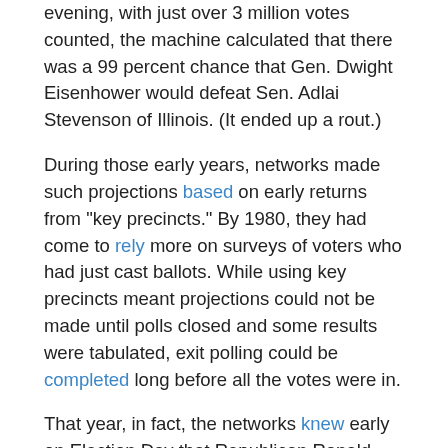evening, with just over 3 million votes counted, the machine calculated that there was a 99 percent chance that Gen. Dwight Eisenhower would defeat Sen. Adlai Stevenson of Illinois. (It ended up a rout.)
During those early years, networks made such projections based on early returns from "key precincts." By 1980, they had come to rely more on surveys of voters who had just cast ballots. While using key precincts meant projections could not be made until polls closed and some results were tabulated, exit polling could be completed long before all the votes were in.
That year, in fact, the networks knew early on Election Day that Republican Ronald Reagan would win in a landslide. But NBC waited until 8:15 p.m. on the East Coast to announce the results. That was still rush hour on the West Coast, before millions cast their ballots for or against President Jimmy Carter.
One result was that, four years later, the networks agreed to wait until polls closed before projecting a winner. And, since then, some states have tried to discourage the use of exit polling by